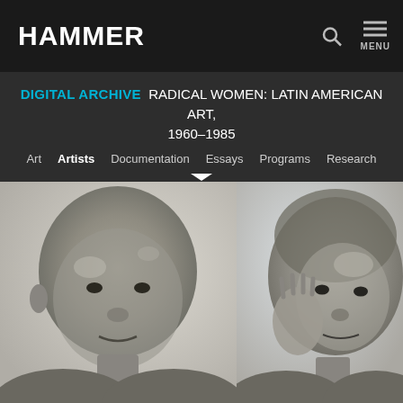HAMMER
DIGITAL ARCHIVE RADICAL WOMEN: LATIN AMERICAN ART, 1960–1985
Art  Artists  Documentation  Essays  Programs  Research
[Figure (photo): Two side-by-side photographic portraits of a person with clay or paint covering the face and head. Left image shows a bald forward-facing figure with a grey-coated face. Right image shows the same or similar figure with hand raised to cheek, clay/paint partially applied.]
Cite